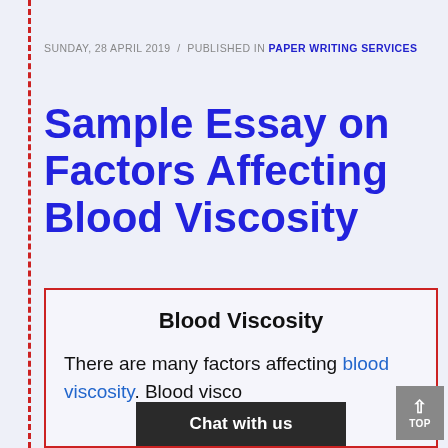SUNDAY, 28 APRIL 2019 / PUBLISHED IN PAPER WRITING SERVICES
Sample Essay on Factors Affecting Blood Viscosity
Blood Viscosity
There are many factors affecting blood viscosity. Blood visco...